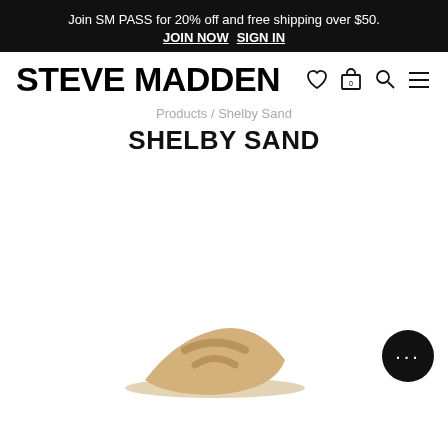Join SM PASS for 20% off and free shipping over $50. JOIN NOW  SIGN IN
STEVE MADDEN
Products / Shelby Sand
SHELBY SAND
[Figure (photo): Product image of SHELBY SAND sandal in tan/sand color, wedge style, shown partially at bottom of page. Chat bubble button in lower right corner.]